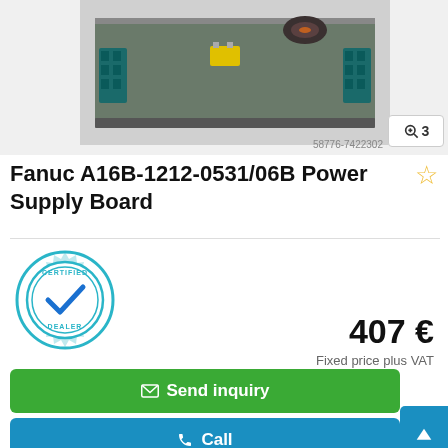[Figure (photo): Photo of Fanuc A16B-1212-0531/06B Power Supply Board PCB, a circuit board with components including connectors and coils, shown against a white background. Image ID: 58776-7422302, with zoom indicator showing 3 images.]
Fanuc A16B-1212-0531/06B Power Supply Board
[Figure (logo): Certified Dealer badge - circular teal gear-shaped seal with checkmark and text 'CERTIFIED DEALER']
407 €
Fixed price plus VAT
✉ Send inquiry
📞 Call
➤ Save search query
Remscheid, Germany 🇩🇪
(dealership location)